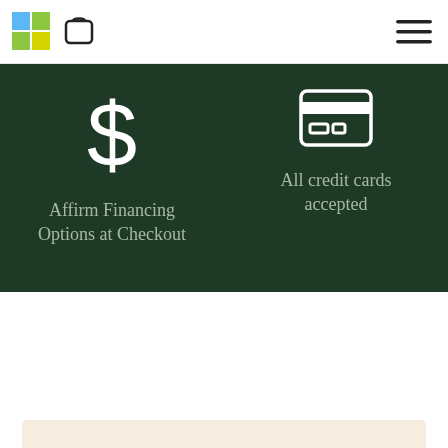[Figure (logo): Colorful grid logo icon (blue, green, yellow squares)]
[Figure (other): Shopping bag icon]
[Figure (other): Hamburger menu icon (three horizontal lines)]
Affirm Financing Options at Checkout
All credit cards accepted